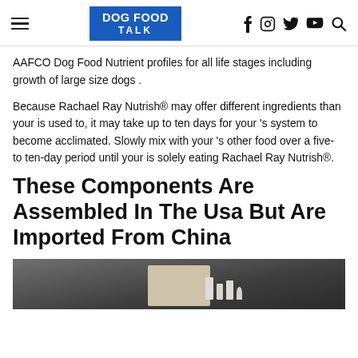DOG FOOD TALK
AAFCO Dog Food Nutrient profiles for all life stages including growth of large size dogs .
Because Rachael Ray Nutrish® may offer different ingredients than your is used to, it may take up to ten days for your 's system to become acclimated. Slowly mix with your 's other food over a five- to ten-day period until your is solely eating Rachael Ray Nutrish®.
These Components Are Assembled In The Usa But Are Imported From China
[Figure (photo): Dark background photo showing a beige/tan card and some small white objects arranged on a dark surface.]